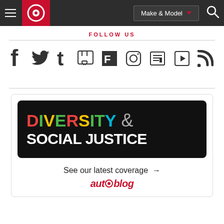[Figure (screenshot): Autoblog website navigation header with hamburger menu, red logo, Make & Model dropdown, and search icon on dark background]
FOLLOW US
[Figure (other): Social media icons row: Facebook, Twitter, Tumblr, Twitch, Flipboard, Instagram, News, Play, RSS]
[Figure (other): Promotional card: Diversity & Social Justice banner with colorful text on black background, 'See our latest coverage →' and Autoblog logo]